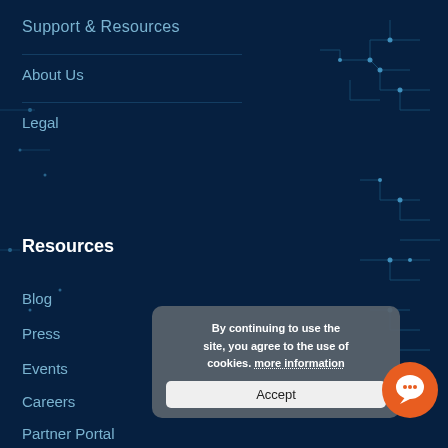Support & Resources
About Us
Legal
Resources
Blog
Press
Events
Careers
Partner Portal
By continuing to use the site, you agree to the use of cookies. more information Accept